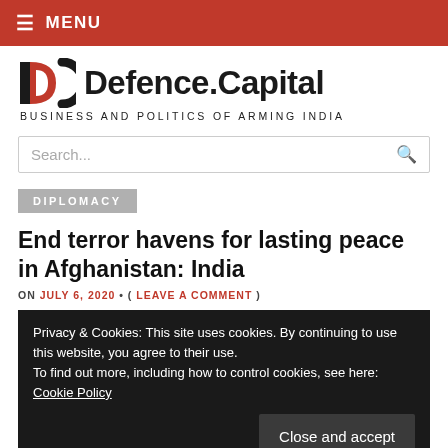≡ MENU
[Figure (logo): Defence.Capital logo with DC icon and tagline BUSINESS AND POLITICS OF ARMING INDIA]
Search...
DIPLOMACY
End terror havens for lasting peace in Afghanistan: India
ON JULY 6, 2020 • ( LEAVE A COMMENT )
Privacy & Cookies: This site uses cookies. By continuing to use this website, you agree to their use.
To find out more, including how to control cookies, see here: Cookie Policy
[Figure (photo): Partial photo visible at bottom of page, dark background with figures]